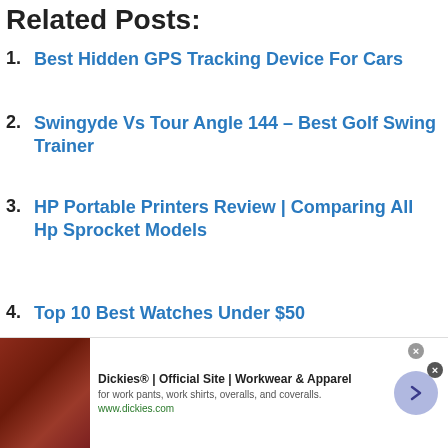Related Posts:
Best Hidden GPS Tracking Device For Cars
Swingyde Vs Tour Angle 144 – Best Golf Swing Trainer
HP Portable Printers Review | Comparing All Hp Sprocket Models
Top 10 Best Watches Under $50
11 Best Sports Cars For Carrying Golf Bags
[Figure (other): Advertisement banner for Dickies workwear showing a leather chair image, text 'Dickies® | Official Site | Workwear & Apparel', description 'for work pants, work shirts, overalls, and coveralls.', URL 'www.dickies.com', and a blue arrow button.]